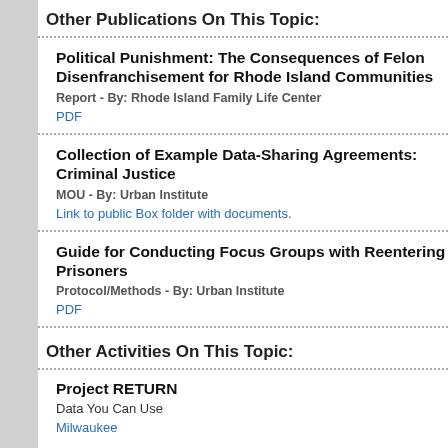Other Publications On This Topic:
Political Punishment: The Consequences of Felon Disenfranchisement for Rhode Island Communities
Report - By: Rhode Island Family Life Center
PDF
Collection of Example Data-Sharing Agreements: Criminal Justice
MOU - By: Urban Institute
Link to public Box folder with documents.
Guide for Conducting Focus Groups with Reentering Prisoners
Protocol/Methods - By: Urban Institute
PDF
Other Activities On This Topic:
Project RETURN
Data You Can Use
Milwaukee